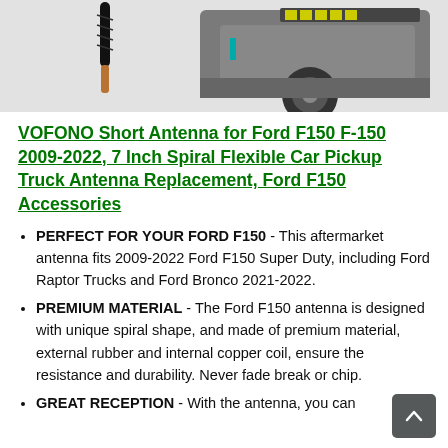[Figure (photo): Product image showing a short spiral antenna (black with copper tip) on left and a Ford F150/Raptor truck rear/undercarriage view on right, against a white/gray background.]
VOFONO Short Antenna for Ford F150 F-150 2009-2022, 7 Inch Spiral Flexible Car Pickup Truck Antenna Replacement, Ford F150 Accessories
PERFECT FOR YOUR FORD F150 - This aftermarket antenna fits 2009-2022 Ford F150 Super Duty, including Ford Raptor Trucks and Ford Bronco 2021-2022.
PREMIUM MATERIAL - The Ford F150 antenna is designed with unique spiral shape, and made of premium material, external rubber and internal copper coil, ensure the resistance and durability. Never fade break or chip.
GREAT RECEPTION - With the antenna, you can